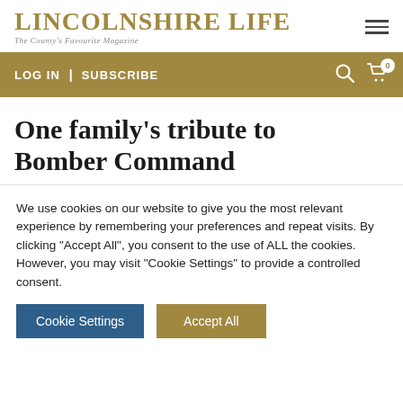LINCOLNSHIRE LIFE — The County's Favourite Magazine
LOG IN | SUBSCRIBE
One family's tribute to Bomber Command
We use cookies on our website to give you the most relevant experience by remembering your preferences and repeat visits. By clicking "Accept All", you consent to the use of ALL the cookies. However, you may visit "Cookie Settings" to provide a controlled consent.